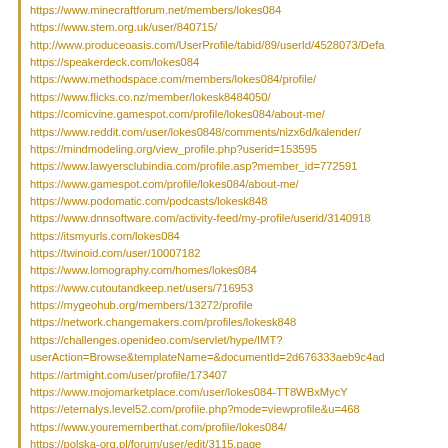https://www.minecraftforum.net/members/lokes084
https://www.stem.org.uk/user/840715/
http://www.produceoasis.com/UserProfile/tabid/89/userId/4528073/Defa
https://speakerdeck.com/lokes084
https://www.methodspace.com/members/lokes084/profile/
https://www.flicks.co.nz/member/lokesk8484050/
https://comicvine.gamespot.com/profile/lokes084/about-me/
https://www.reddit.com/user/lokes0848/comments/nizx6d/kalender/
https://mindmodeling.org/view_profile.php?userid=153595
https://www.lawyersclubindia.com/profile.asp?member_id=772591
https://www.gamespot.com/profile/lokes084/about-me/
https://www.podomatic.com/podcasts/lokesk848
https://www.dnnsoftware.com/activity-feed/my-profile/userid/3140918
https://itsmyurls.com/lokes084
https://twinoid.com/user/10007182
https://www.lomography.com/homes/lokes084
https://www.cutoutandkeep.net/users/716953
https://mygeohub.org/members/13272/profile
https://network.changemakers.com/profiles/lokesk848
https://challenges.openideo.com/servlet/hype/IMT?userAction=Browse&templateName=&documentId=2d676333aeb9c4ad
https://artmight.com/user/profile/173407
https://www.mojomarketplace.com/user/lokes084-TT8WBxMycY
https://eternalys.level52.com/profile.php?mode=viewprofile&u=468
https://www.yourememberthat.com/profile/lokes084/
https://polska-org.pl/forum/user/edit/3115.page
http://wiznotes.com/UserProfile/tabid/84/userId/923751/Default.aspx
https://sourceforge.net/u/lokes084/wiki/Home/